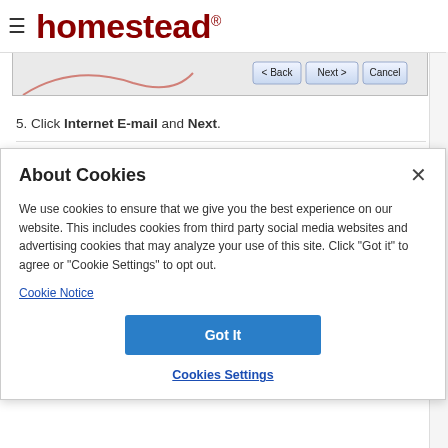homestead®
[Figure (screenshot): Partial screenshot of a wizard dialog showing Back, Next, Cancel buttons]
5. Click Internet E-mail and Next.
About Cookies
We use cookies to ensure that we give you the best experience on our website. This includes cookies from third party social media websites and advertising cookies that may analyze your use of this site. Click "Got it" to agree or "Cookie Settings" to opt out.
Cookie Notice
Got It
Cookies Settings